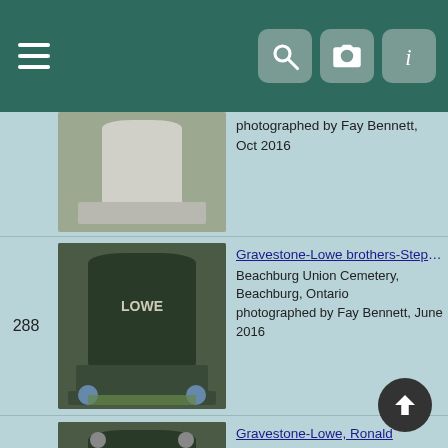[Figure (screenshot): Mobile app navigation bar with hamburger menu on left, and search, camera, info icons on right, dark teal background]
photographed by Fay Bennett, Oct 2016
[Figure (photo): Gravestone for Lowe family, dark granite, Beachburg Union Cemetery]
288  Gravestone-Lowe brothers-Stephen & Robert
Beachburg Union Cemetery, Beachburg, Ontario
photographed by Fay Bennett, June 2016
[Figure (photo): Gravestone for Ronald Lowe, dark granite, Beachburg Union Cemetery]
289  Gravestone-Lowe, Ronald
Beachburg Union Cemetery, Beachburg, Ontario
photographed by Fay Bennett, June 2016
[Figure (photo): Gravestone for MacGregor family, dark granite]
290  Gravestone-MacGregor, George F. & Elizabeth Curr
Beachburg Union Cemetery
Beachburg, Renfrew, Ontario, Canada
Photograph from the collection of D.R. MacGregor
[Figure (photo): Gravestone for MacGregor family, dark granite]
291  Gravestone-MacGregor, Wm Gordon & Do... Ma...
Beachburg Union Cemetery
photographed by Fay Bennett, Oct 2016